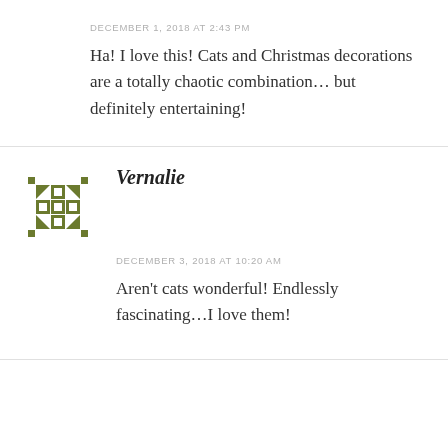DECEMBER 1, 2018 AT 2:43 PM
Ha! I love this! Cats and Christmas decorations are a totally chaotic combination… but definitely entertaining!
Vernalie
DECEMBER 3, 2018 AT 10:20 AM
Aren't cats wonderful! Endlessly fascinating…I love them!